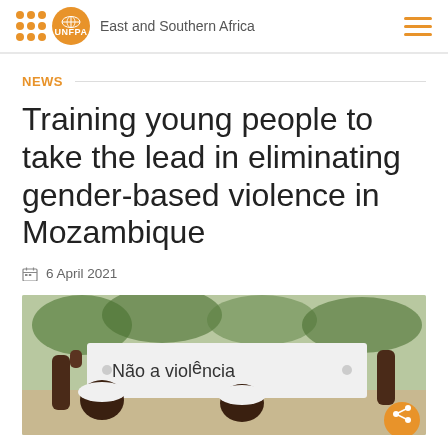UNFPA East and Southern Africa
NEWS
Training young people to take the lead in eliminating gender-based violence in Mozambique
6 April 2021
[Figure (photo): Two young people holding a handwritten sign reading 'Não a violência' (No to violence), wearing white caps, outdoors with trees in background]